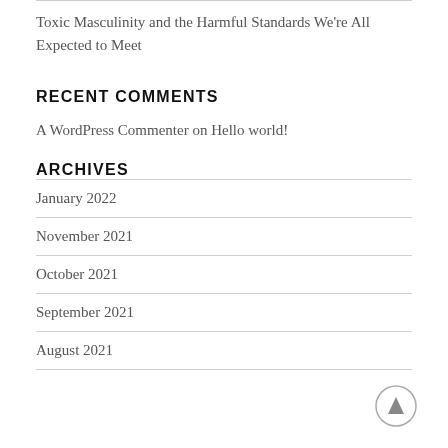Toxic Masculinity and the Harmful Standards We're All Expected to Meet
RECENT COMMENTS
A WordPress Commenter on Hello world!
ARCHIVES
January 2022
November 2021
October 2021
September 2021
August 2021